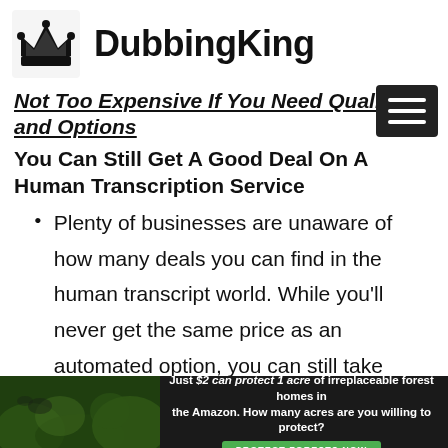DubbingKing
Not Too Expensive If You Need Quality and Options
You Can Still Get A Good Deal On A Human Transcription Service
Plenty of businesses are unaware of how many deals you can find in the human transcript world. While you'll never get the same price as an automated option, you can still take measures to lower the expense to
[Figure (other): Advertisement banner: Just $2 can protect 1 acre of irreplaceable forest homes in the Amazon. How many acres are you willing to protect? With a green 'PROTECT FORESTS NOW' button.]